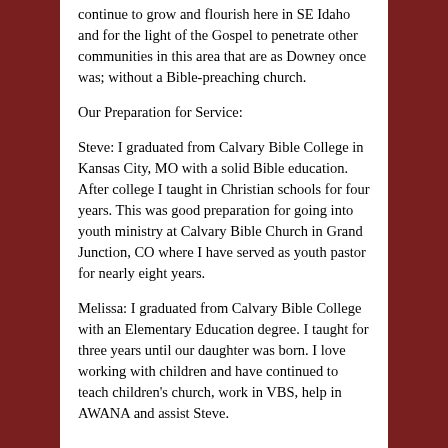continue to grow and flourish here in SE Idaho and for the light of the Gospel to penetrate other communities in this area that are as Downey once was; without a Bible-preaching church.
Our Preparation for Service:
Steve: I graduated from Calvary Bible College in Kansas City, MO with a solid Bible education. After college I taught in Christian schools for four years. This was good preparation for going into youth ministry at Calvary Bible Church in Grand Junction, CO where I have served as youth pastor for nearly eight years.
Melissa: I graduated from Calvary Bible College with an Elementary Education degree. I taught for three years until our daughter was born. I love working with children and have continued to teach children's church, work in VBS, help in AWANA and assist Steve.